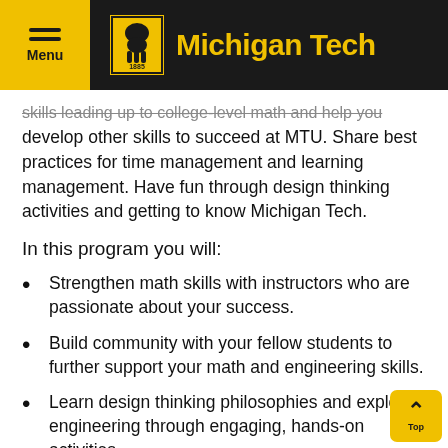Michigan Tech
skills leading up to college-level math and help you develop other skills to succeed at MTU. Share best practices for time management and learning management. Have fun through design thinking activities and getting to know Michigan Tech.
In this program you will:
Strengthen math skills with instructors who are passionate about your success.
Build community with your fellow students to further support your math and engineering skills.
Learn design thinking philosophies and explore engineering through engaging, hands-on activities.
Develop learning and time management strategies